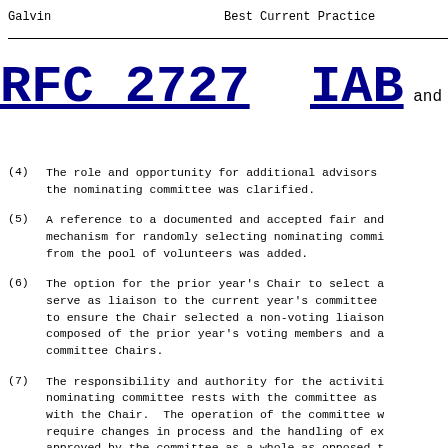Galvin                    Best Current Practice
RFC 2727   IAB and IESG
(4)  The role and opportunity for additional advisors to the nominating committee was clarified.
(5)  A reference to a documented and accepted fair and mechanism for randomly selecting nominating committee from the pool of volunteers was added.
(6)  The option for the prior year's Chair to select a serve as liaison to the current year's committee to ensure the Chair selected a non-voting liaison composed of the prior year's voting members and a committee Chairs.
(7)  The responsibility and authority for the activities nominating committee rests with the committee as with the Chair.  The operation of the committee w require changes in process and the handling of ex approved by the committee as a whole as opposed t direction of the Chair.